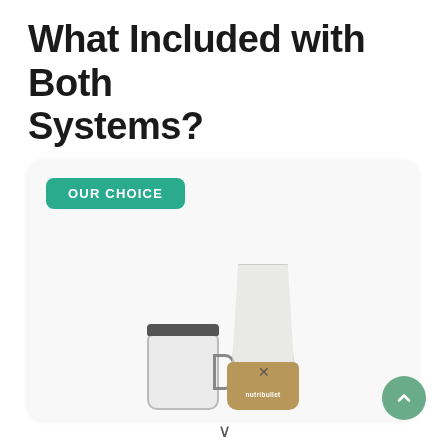What Included with Both Systems?
[Figure (photo): Product card with 'OUR CHOICE' badge showing a NutriBullet blender system with a mug/cup container on the left and a tall blender cup with bronze/gold base on the right]
[Figure (other): Green circular scroll-to-top button with upward chevron arrow, positioned bottom right]